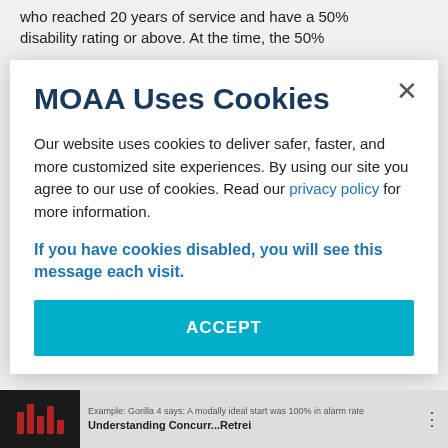who reached 20 years of service and have a 50% disability rating or above. At the time, the 50%
MOAA Uses Cookies
Our website uses cookies to deliver safer, faster, and more customized site experiences. By using our site you agree to our use of cookies. Read our privacy policy for more information.
If you have cookies disabled, you will see this message each visit.
ACCEPT
[Figure (screenshot): Bottom thumbnail of a video titled 'Understanding Concurr...Retrei' with MOAA logo bar chart icon on dark background]